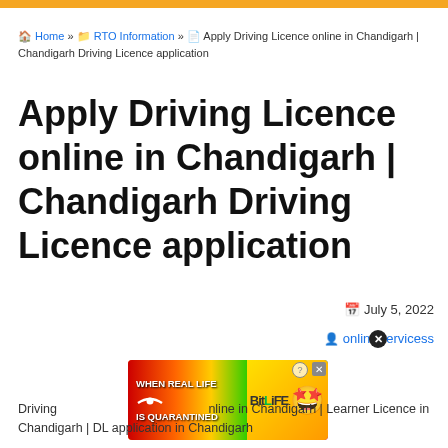orange bar
🏠 Home » 📁 RTO Information » 📄 Apply Driving Licence online in Chandigarh | Chandigarh Driving Licence application
Apply Driving Licence online in Chandigarh | Chandigarh Driving Licence application
📅 July 5, 2022
👤 onlineservices
[Figure (screenshot): BitLife advertisement banner - colorful rainbow background with text WHEN REAL LIFE IS QUARANTINED and BitLife logo with emoji character]
Driving Licence online in Chandigarh | Learner Licence in Chandigarh | DL application in Chandigarh